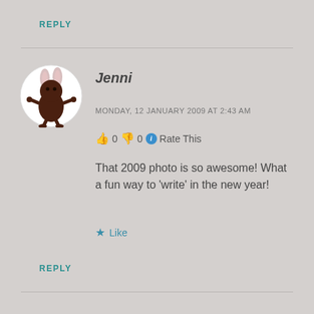REPLY
[Figure (illustration): Circular avatar showing a cartoon ant/bunny character in dark brown with pink bunny ears on a white circle background]
Jenni
MONDAY, 12 JANUARY 2009 AT 2:43 AM
👍 0 👎 0 ℹ Rate This
That 2009 photo is so awesome! What a fun way to 'write' in the new year!
★ Like
REPLY